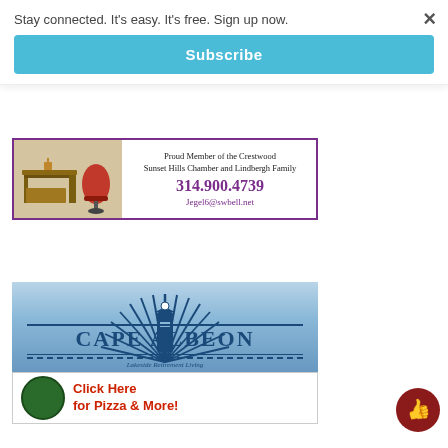Stay connected. It's easy. It's free. Sign up now.
Subscribe
[Figure (illustration): Furniture store advertisement showing a wooden desk and red modern chair, with text: Proud Member of the Crestwood Sunset Hills Chamber and Lindbergh Family, phone 314.900.4739, email Jegel6@swbell.net, with purple border]
[Figure (logo): Cape Albeon advertisement showing a blue lighthouse sunburst logo with text CAPE ALBEON and Lakeside Retirement Living subtitle, plus lower section with green circle logo and red bold text Click Here for Pizza & More!]